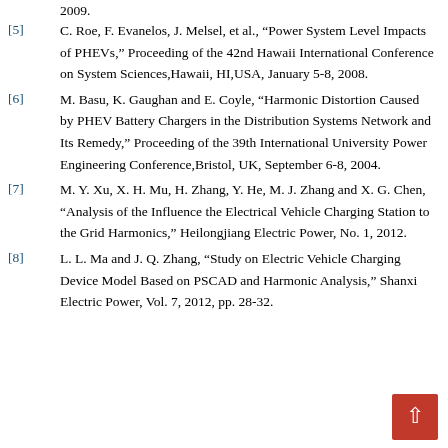2009.
[5] C. Roe, F. Evanelos, J. Melsel, et al., “Power System Level Impacts of PHEVs,” Proceeding of the 42nd Hawaii International Conference on System Sciences,Hawaii, HI,USA, January 5-8, 2008.
[6] M. Basu, K. Gaughan and E. Coyle, “Harmonic Distortion Caused by PHEV Battery Chargers in the Distribution Systems Network and Its Remedy,” Proceeding of the 39th International University Power Engineering Conference,Bristol, UK, September 6-8, 2004.
[7] M. Y. Xu, X. H. Mu, H. Zhang, Y. He, M. J. Zhang and X. G. Chen, “Analysis of the Influence the Electrical Vehicle Charging Station to the Grid Harmonics,” Heilongjiang Electric Power, No. 1, 2012.
[8] L. L. Ma and J. Q. Zhang, “Study on Electric Vehicle Charging Device Model Based on PSCAD and Harmonic Analysis,” Shanxi Electric Power, Vol. 7, 2012, pp. 28-32.